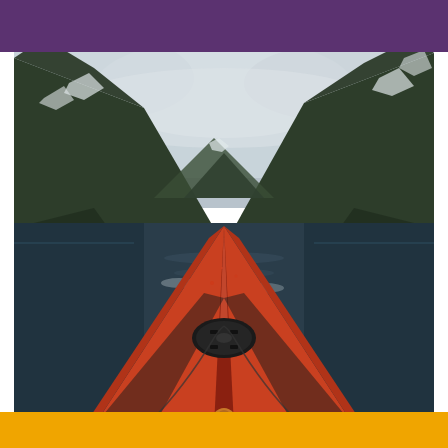[Figure (photo): First-person perspective view from inside an orange/red kayak on a calm fjord or mountain lake, surrounded by steep dark green forested mountains with snow-capped peaks and overcast sky. The kayak bow points straight ahead toward the mountains in the distance, with dark reflective water on either side.]